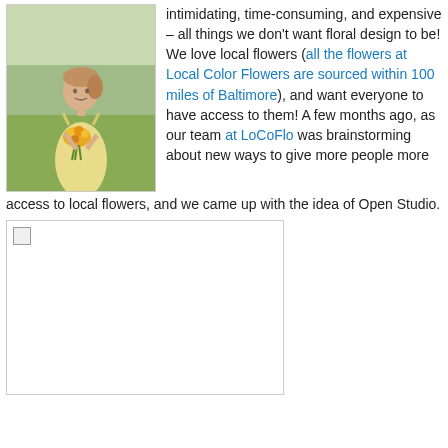[Figure (photo): Woman in yellow dress holding yellow/orange flowers, standing in a field]
Learning a new skill can be intimidating, time-consuming, and expensive – all things we don't want floral design to be! We love local flowers (all the flowers at Local Color Flowers are sourced within 100 miles of Baltimore), and want everyone to have access to them! A few months ago, as our team at LoCoFlo was brainstorming about new ways to give more people more access to local flowers, and we came up with the idea of Open Studio.
[Figure (photo): Placeholder image box with broken image icon]